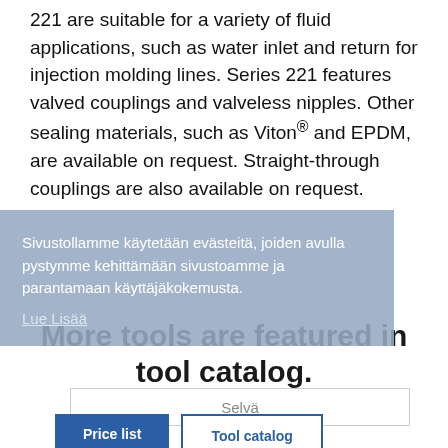221 are suitable for a variety of fluid applications, such as water inlet and return for injection molding lines. Series 221 features valved couplings and valveless nipples. Other sealing materials, such as Viton® and EPDM, are available on request. Straight-through couplings are also available on request.
Sivustollamme käytetään evästeitä, joiden avulla pystymme kehittämään sivustoamme ja parantamaan käyttäjäkokemusta.
Lue Lisää
More tools are featured in tool catalog.
Selvä
Price list
Tool catalog